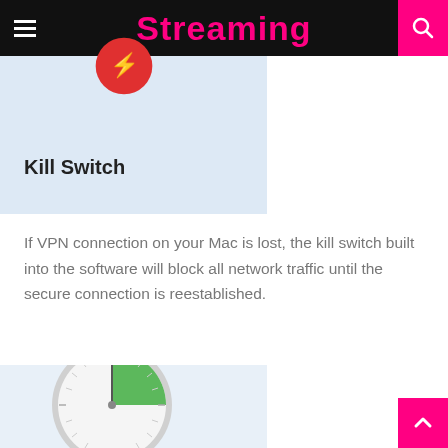Streaming
[Figure (illustration): Kill Switch feature card with red circular icon on light blue background]
Kill Switch
If VPN connection on your Mac is lost, the kill switch built into the software will block all network traffic until the secure connection is reestablished.
[Figure (illustration): Stopwatch illustration with green quarter-slice on light blue background]